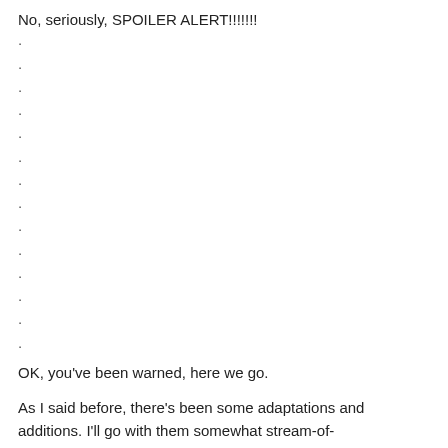No, seriously, SPOILER ALERT!!!!!!!
.
.
.
.
.
.
.
.
.
.
.
.
.
.
OK, you’ve been warned, here we go.
As I said before, there’s been some adaptations and additions. I’ll go with them somewhat stream-of-consciousness, and some compare and contrast with the Bakshi version.
Characters: